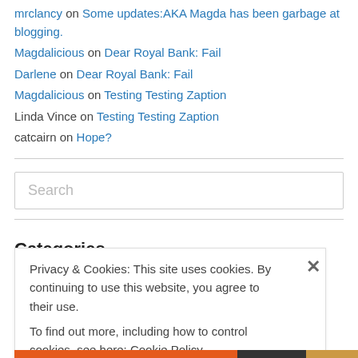mrclancy on Some updates:AKA Magda has been garbage at blogging.
Magdalicious on Dear Royal Bank: Fail
Darlene on Dear Royal Bank: Fail
Magdalicious on Testing Testing Zaption
Linda Vince on Testing Testing Zaption
catcairn on Hope?
Categories
Privacy & Cookies: This site uses cookies. By continuing to use this website, you agree to their use. To find out more, including how to control cookies, see here: Cookie Policy